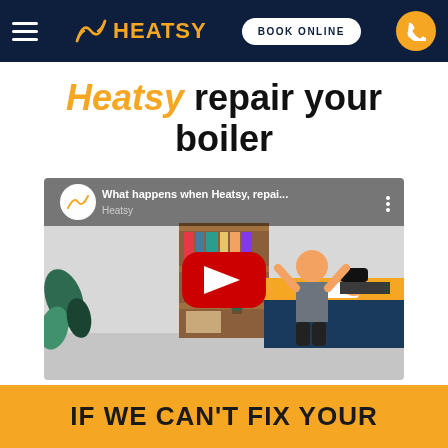HEATSY — BOOK ONLINE
Heatsy repair your boiler
[Figure (screenshot): YouTube video thumbnail showing animated characters in a bedroom scene with Heatsy logo and title 'What happens when Heatsy, repai...' and YouTube play button]
IF WE CAN'T FIX YOUR